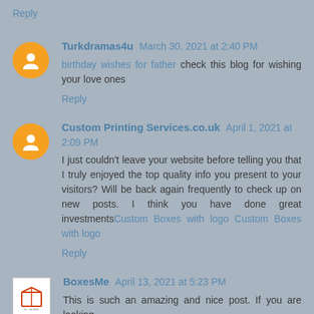Reply
Turkdramas4u March 30, 2021 at 2:40 PM
birthday wishes for father check this blog for wishing your love ones
Reply
Custom Printing Services.co.uk April 1, 2021 at 2:09 PM
I just couldn't leave your website before telling you that I truly enjoyed the top quality info you present to your visitors? Will be back again frequently to check up on new posts. I think you have done great investmentsCustom Boxes with logo Custom Boxes with logo
Reply
BoxesMe April 13, 2021 at 5:23 PM
This is such an amazing and nice post. If you are looking